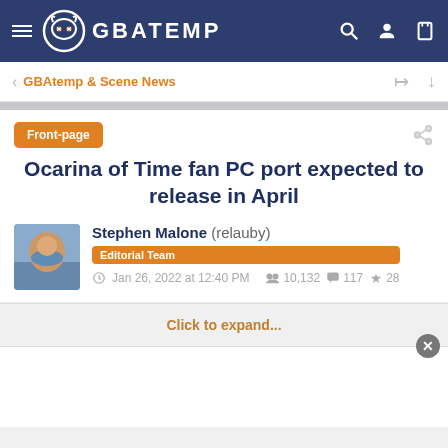GBAtemp navigation bar
GBAtemp & Scene News
Front-page
Ocarina of Time fan PC port expected to release in April
Stephen Malone (relauby) Editorial Team Jan 26, 2022 at 12:40 PM  10,132  117  28
Click to expand...